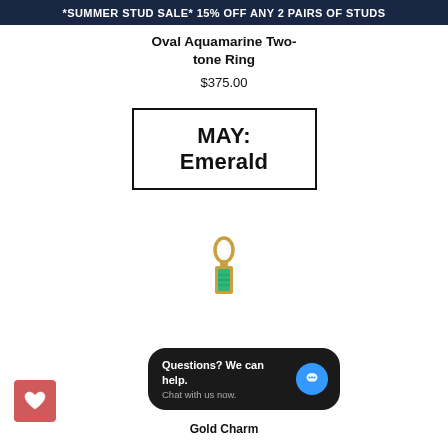*SUMMER STUD SALE* 15% OFF ANY 2 PAIRS OF STUDS
Oval Aquamarine Two-tone Ring
$375.00
MAY: Emerald
[Figure (photo): Gold charm pendant with green emerald baguette stone on a small gold hoop]
Gold Charm
Questions? We can help. Chat with us now.